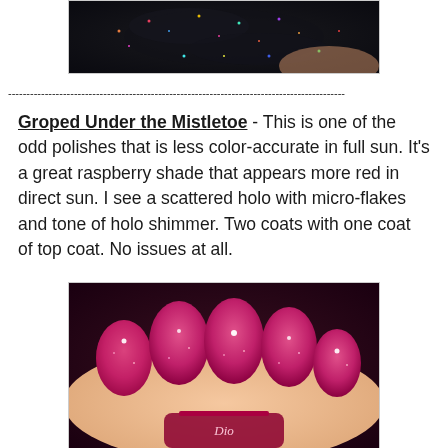[Figure (photo): Close-up photo of nails with dark holographic nail polish showing colorful glitter sparkles]
--------------------------------------------------------------------------------------------
Groped Under the Mistletoe - This is one of the odd polishes that is less color-accurate in full sun. It's a great raspberry shade that appears more red in direct sun. I see a scattered holo with micro-flakes and tone of holo shimmer. Two coats with one coat of top coat. No issues at all.
[Figure (photo): Close-up photo of hand with raspberry/deep pink holographic glitter nail polish, showing a nail polish bottle labeled 'Dio']